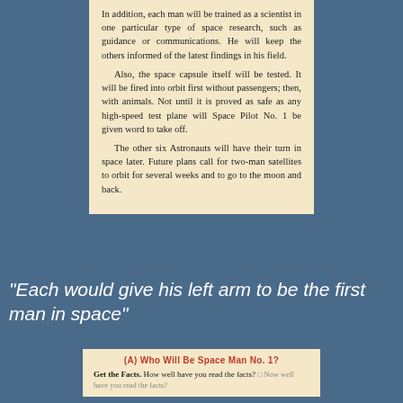[Figure (photo): Scanned excerpt from a book page with aged/yellowed paper. Text discusses astronaut training and space capsule testing, mentioning Space Pilot No. 1 and future plans for two-man satellites.]
"Each would give his left arm to be the first man in space"
[Figure (photo): Scanned excerpt from a book page showing section header '(A) Who Will Be Space Man No. 1?' with subtitle 'Get the Facts.' and beginning of body text.]